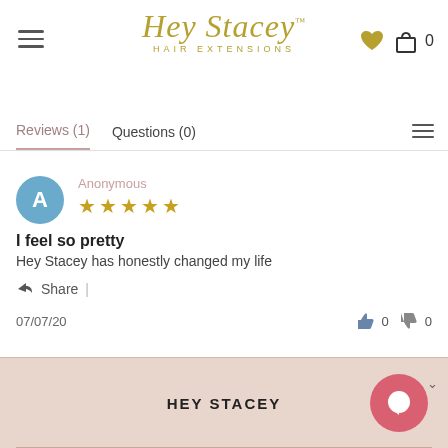Hey Stacey Hair Extensions
Reviews (1)   Questions (0)
Anonymous
★★★★★
I feel so pretty
Hey Stacey has honestly changed my life
Share |
07/07/20
👍 0   👎 0
HEY STACEY